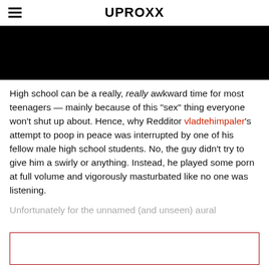UPROXX
[Figure (photo): Black hero image at top of article]
High school can be a really, really awkward time for most teenagers — mainly because of this “sex” thing everyone won’t shut up about. Hence, why Redditor vladtehimpaler’s attempt to poop in peace was interrupted by one of his fellow male high school students. No, the guy didn’t try to give him a swirly or anything. Instead, he played some porn at full volume and vigorously masturbated like no one was listening.
Unfortunately for the unnamed (and unseen) aural